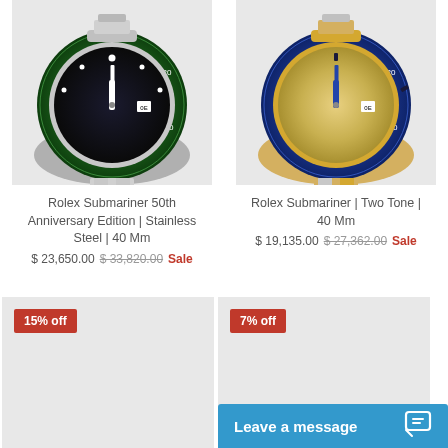[Figure (photo): Rolex Submariner 50th Anniversary Edition watch with green bezel and black dial, stainless steel bracelet, partial view from top]
[Figure (photo): Rolex Submariner Two Tone watch with blue bezel and champagne/gold dial, two-tone bracelet, partial view from top]
Rolex Submariner 50th Anniversary Edition | Stainless Steel | 40 Mm
$ 23,650.00  $ 33,820.00  Sale
Rolex Submariner | Two Tone | 40 Mm
$ 19,135.00  $ 27,362.00  Sale
[Figure (photo): Product card placeholder with 15% off badge, light gray background]
[Figure (photo): Product card placeholder with 7% off badge, light gray background]
Leave a message